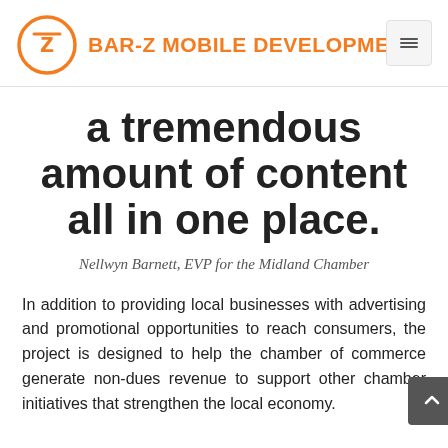BAR-Z MOBILE DEVELOPMENT
a tremendous amount of content all in one place.
Nellwyn Barnett, EVP for the Midland Chamber
In addition to providing local businesses with advertising and promotional opportunities to reach consumers, the project is designed to help the chamber of commerce generate non-dues revenue to support other chamber initiatives that strengthen the local economy.